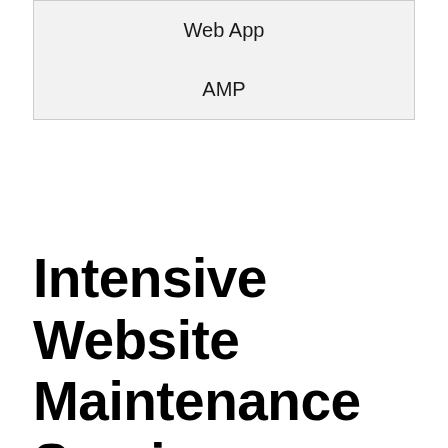| Web App |
| AMP |
Intensive Website Maintenance Service Lakewood, New Jersey